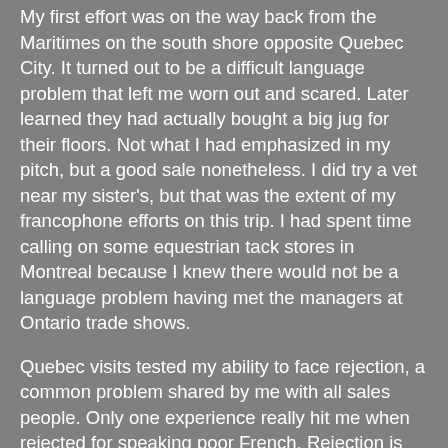My first effort was on the way back from the Maritimes on the south shore opposite Quebec City. It turned out to be a difficult language problem that left me worn out and scared. Later learned they had actually bought a big jug for their floors. Not what I had emphasized in my pitch, but a good sale nonetheless. I did try a vet near my sister's, but that was the extent of my francophone efforts on this trip. I had spent time calling on some equestrian tack stores in Montreal because I knew there would not be a language problem having met the managers at Ontario trade shows.
Quebec visits tested my ability to face rejection, a common problem shared by me with all sales people. Only one experience really hit me when rejected for speaking poor French. Rejection is the one reason most people avoid selling and the most successful sales people have suffered the most rejection. On one call I was greeted at the door by the owner who yelled that he had no time for salespeople and I should leave before I got a chance to tell what I was selling. I later met him at a trade show where he had come with some other buyers from the same town who insisted he look at my product. He became a dealer and his wife who ...